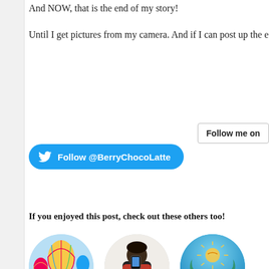And NOW, that is the end of my story!
Until I get pictures from my camera. And if I can post up the e
Follow me on
[Figure (screenshot): Twitter follow button for @BerryChocoLatte — blue rounded rectangle with Twitter bird icon and text 'Follow @BerryChocoLatte']
If you enjoyed this post, check out these others too!
[Figure (photo): Circular thumbnail showing a hot air balloon scene with colorful balloons in a blue sky]
[Figure (photo): Circular thumbnail showing a person taking a selfie while holding a child, standing in front of a white building]
[Figure (photo): Circular thumbnail showing a Costa Maya sign with a sun logo on a blue background]